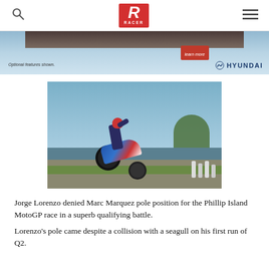RACER — navigation bar with search icon, logo, and menu icon
[Figure (photo): Advertisement banner for Hyundai with light blue background, 'Optional features shown.' text, 'learn more' red button, and Hyundai logo with H emblem]
[Figure (photo): A motorcycle racer doing a wheelie on a racing circuit at Phillip Island, wearing blue and white gear, with ocean and trees visible in background]
Jorge Lorenzo denied Marc Marquez pole position for the Phillip Island MotoGP race in a superb qualifying battle.
Lorenzo's pole came despite a collision with a seagull on his first run of Q2.